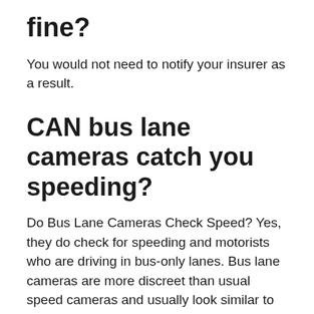fine?
You would not need to notify your insurer as a result.
CAN bus lane cameras catch you speeding?
Do Bus Lane Cameras Check Speed? Yes, they do check for speeding and motorists who are driving in bus-only lanes. Bus lane cameras are more discreet than usual speed cameras and usually look similar to that of CCTV.